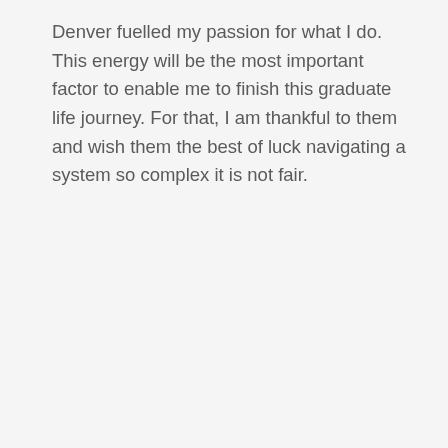Denver fuelled my passion for what I do. This energy will be the most important factor to enable me to finish this graduate life journey. For that, I am thankful to them and wish them the best of luck navigating a system so complex it is not fair.